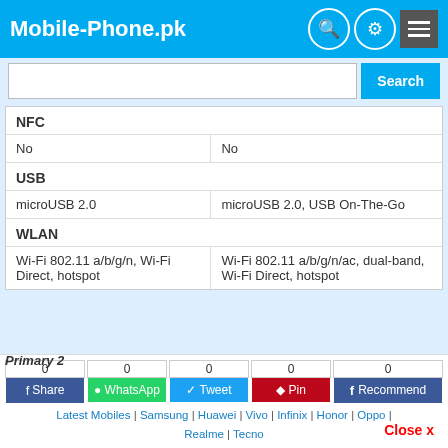Mobile-Phone.pk
| Spec | Device 1 | Device 2 |
| --- | --- | --- |
| NFC | No | No |
| USB | microUSB 2.0 | microUSB 2.0, USB On-The-Go |
| WLAN | Wi-Fi 802.11 a/b/g/n, Wi-Fi Direct, hotspot | Wi-Fi 802.11 a/b/g/n/ac, dual-band, Wi-Fi Direct, hotspot |
Camera
| Primary 1 | Device 1 | Device 2 |
| --- | --- | --- |
| Primary 1 | 13 MP, f/1.8, (wide), 1/3.1", 1.12Âµm, AF | 16 MP, (wide), PDAF |
Primary 2